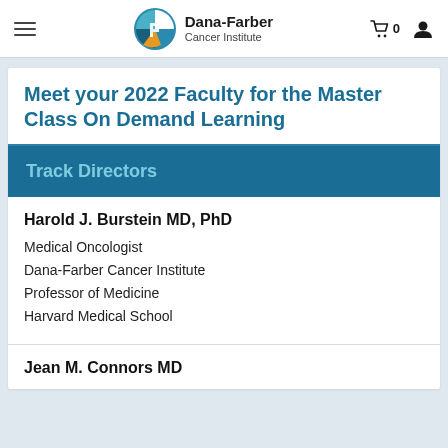Dana-Farber Cancer Institute
Meet your 2022 Faculty for the Master Class On Demand Learning
Track Directors
Harold J. Burstein MD, PhD
Medical Oncologist
Dana-Farber Cancer Institute
Professor of Medicine
Harvard Medical School
Jean M. Connors MD